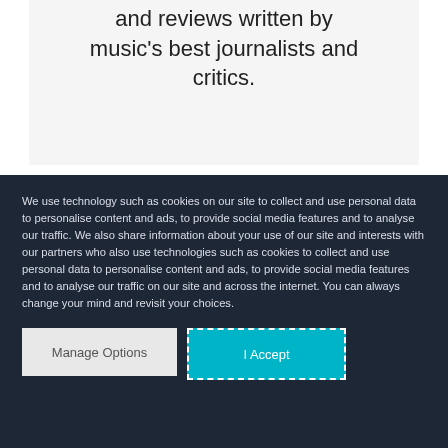and reviews written by music's best journalists and critics.
We use technology such as cookies on our site to collect and use personal data to personalise content and ads, to provide social media features and to analyse our traffic. We also share information about your use of our site and interests with our partners who also use technologies such as cookies to collect and use personal data to personalise content and ads, to provide social media features and to analyse our traffic on our site and across the internet. You can always change your mind and revisit your choices.
Manage Options
I Accept